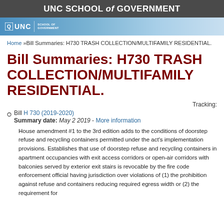UNC SCHOOL of GOVERNMENT
[Figure (logo): UNC School of Government logo bar with blue gradient background]
Home »Bill Summaries: H730 TRASH COLLECTION/MULTIFAMILY RESIDENTIAL.
Bill Summaries: H730 TRASH COLLECTION/MULTIFAMILY RESIDENTIAL.
Tracking:
Bill H 730 (2019-2020) Summary date: May 2 2019 - More information
House amendment #1 to the 3rd edition adds to the conditions of doorstep refuse and recycling containers permitted under the act's implementation provisions. Establishes that use of doorstep refuse and recycling containers in apartment occupancies with exit access corridors or open-air corridors with balconies served by exterior exit stairs is revocable by the fire code enforcement official having jurisdiction over violations of (1) the prohibition against refuse and containers reducing required egress width or (2) the requirement for